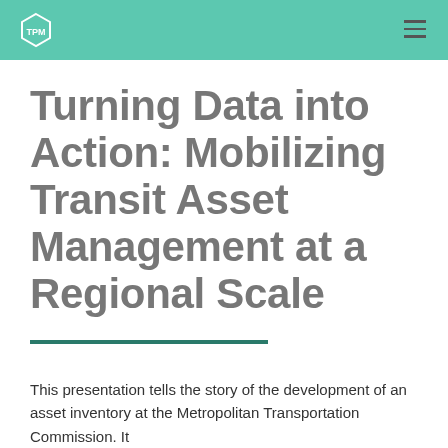TPM logo and navigation menu
Turning Data into Action: Mobilizing Transit Asset Management at a Regional Scale
This presentation tells the story of the development of an asset inventory at the Metropolitan Transportation Commission. It